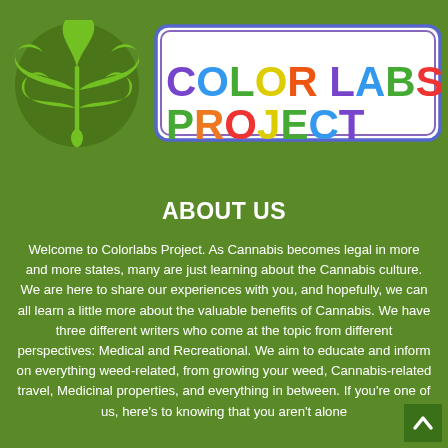[Figure (logo): Dark olive-green circle with a cannabis/marijuana leaf in lighter green in the center]
[Figure (logo): Rectangle with rounded corners and double border (blue outer, purple inner). Inside: 'COLOR LABS PROJECT' in large bold letters with each letter/word in different colors (purple C, blue O, green L, yellow O, orange R, space, purple L, blue A, green B, red S, space, green P, orange R, red O, yellow J, green E, blue C, purple T)]
ABOUT US
Welcome to Colorlabs Project. As Cannabis becomes legal in more and more states, many are just learning about the Cannabis culture. We are here to share our experiences with you, and hopefully, we can all learn a little more about the valuable benefits of Cannabis. We have three different writers who come at the topic from different perspectives: Medical and Recreational. We aim to educate and inform on everything weed-related, from growing your weed, Cannabis-related travel, Medicinal properties, and everything in between. If you're one of us, here's to knowing that you aren't alone